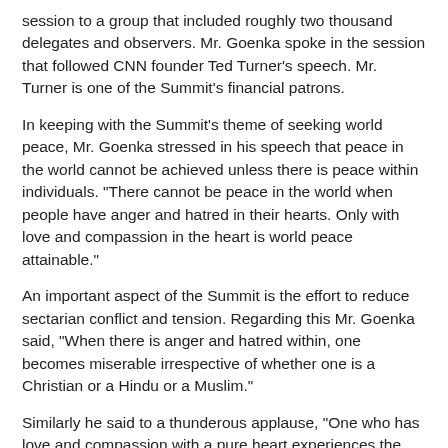session to a group that included roughly two thousand delegates and observers. Mr. Goenka spoke in the session that followed CNN founder Ted Turner's speech. Mr. Turner is one of the Summit's financial patrons.
In keeping with the Summit's theme of seeking world peace, Mr. Goenka stressed in his speech that peace in the world cannot be achieved unless there is peace within individuals. "There cannot be peace in the world when people have anger and hatred in their hearts. Only with love and compassion in the heart is world peace attainable."
An important aspect of the Summit is the effort to reduce sectarian conflict and tension. Regarding this Mr. Goenka said, "When there is anger and hatred within, one becomes miserable irrespective of whether one is a Christian or a Hindu or a Muslim."
Similarly he said to a thunderous applause, "One who has love and compassion with a pure heart experiences the Kingdom of Heaven within. This is the Law of Nature, or if one would rather, God's will."
Appropriately to a crowd that included major world religious leaders he said, "Let us focus on the commonalties of all